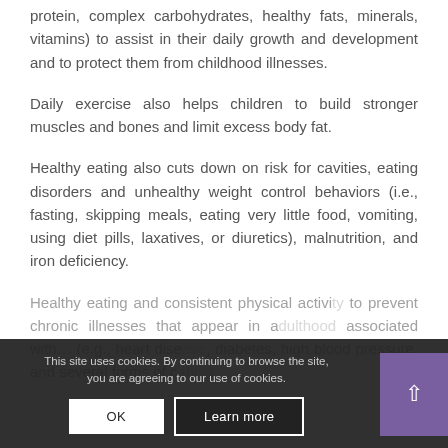protein, complex carbohydrates, healthy fats, minerals, vitamins) to assist in their daily growth and development and to protect them from childhood illnesses.
Daily exercise also helps children to build stronger muscles and bones and limit excess body fat.
Healthy eating also cuts down on risk for cavities, eating disorders and unhealthy weight control behaviors (i.e., fasting, skipping meals, eating very little food, vomiting, using diet pills, laxatives, or diuretics), malnutrition, and iron deficiency.
Healthy eating and consistent physical activity to prevent chronic illnesses that appear in adulthood associated with… (e.g., heart disease, diabetes, high blood pressure, and several forms of cancer…